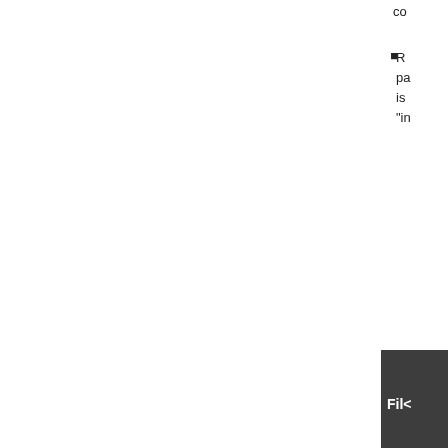co
R
pa
is
"in
| File |
| --- |
| plg |
| plg |
| plg |
| plg |